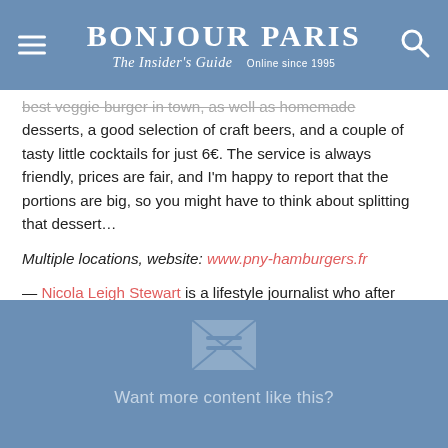BONJOUR PARIS — The Insider's Guide — Online since 1995
best veggie burger in town, as well as homemade desserts, a good selection of craft beers, and a couple of tasty little cocktails for just 6€. The service is always friendly, prices are fair, and I'm happy to report that the portions are big, so you might have to think about splitting that dessert…
Multiple locations, website: www.pny-hamburgers.fr
— Nicola Leigh Stewart is a lifestyle journalist who after living in London and Madrid has finally settled in Paris.
Want more content like this?